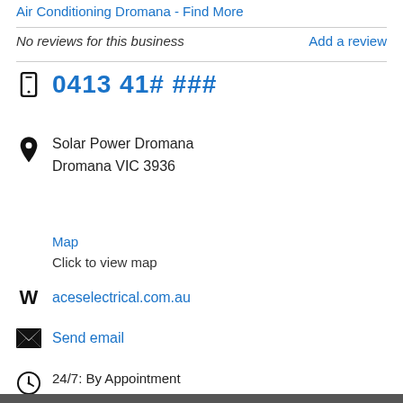Air Conditioning Dromana - Find More
No reviews for this business
Add a review
0413 41# ###
Solar Power Dromana
Dromana VIC 3936
Map
Click to view map
aceselectrical.com.au
Send email
24/7: By Appointment
Home Solar Set-Up Geelong
LED Lighting Instillation Bayside